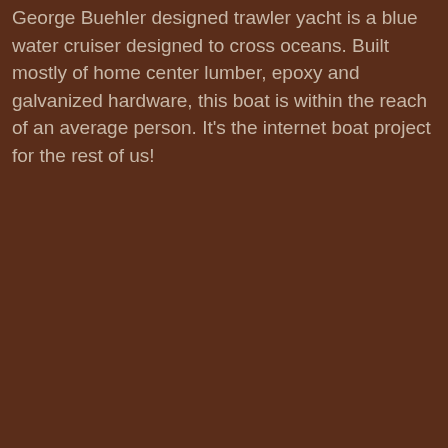George Buehler designed trawler yacht is a blue water cruiser designed to cross oceans. Built mostly of home center lumber, epoxy and galvanized hardware, this boat is within the reach of an average person. It's the internet boat project for the rest of us!